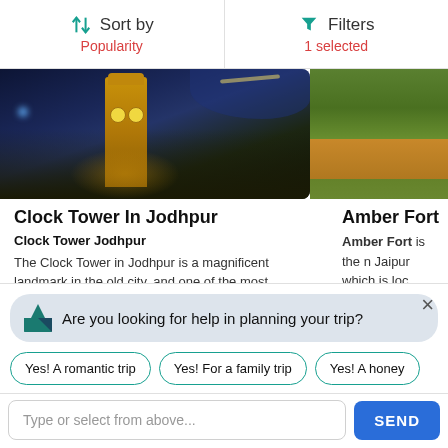Sort by
Popularity
Filters
1 selected
[Figure (photo): Night photo of Clock Tower in Jodhpur — illuminated clock tower against blue-lit cityscape and hills]
[Figure (photo): Partial photo of Amber Fort in Jaipur — green lawns against orange-red stone fortifications]
Clock Tower In Jodhpur
Clock Tower Jodhpur
The Clock Tower in Jodhpur is a magnificent landmark in the old city, and one of the most recognizable
Amber Fort In J
Amber Fort is the n Jaipur which is loc kilometres which is
Read More
Are you looking for help in planning your trip?
Yes! A romantic trip
Yes! For a family trip
Yes! A honey
Type or select from above...